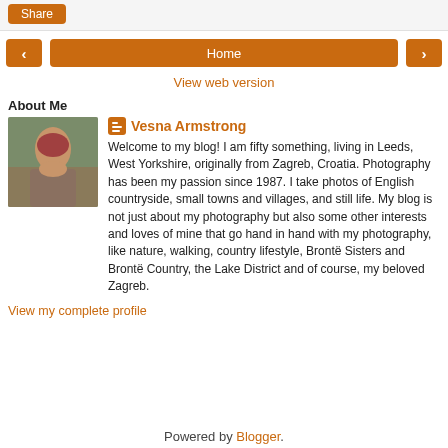[Figure (other): Share button at top of page]
[Figure (other): Navigation row with left arrow, Home button, and right arrow]
View web version
About Me
[Figure (photo): Profile photo of Vesna Armstrong, a woman in a floral dress sitting outdoors in a garden]
Vesna Armstrong
Welcome to my blog! I am fifty something, living in Leeds, West Yorkshire, originally from Zagreb, Croatia. Photography has been my passion since 1987. I take photos of English countryside, small towns and villages, and still life. My blog is not just about my photography but also some other interests and loves of mine that go hand in hand with my photography, like nature, walking, country lifestyle, Brontë Sisters and Brontë Country, the Lake District and of course, my beloved Zagreb.
View my complete profile
Powered by Blogger.